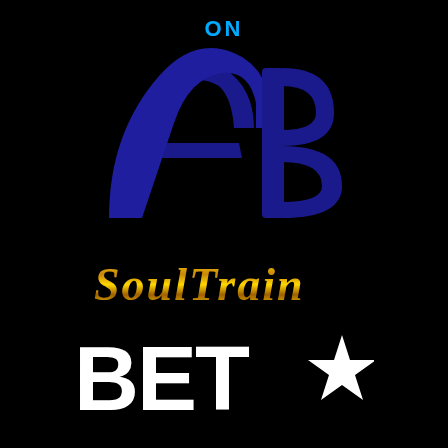ON
[Figure (logo): AB logo in dark navy/purple stylized letters on black background]
[Figure (logo): Soul Train logo in gold metallic stylized text on black background]
[Figure (logo): BET star logo in white bold text with star on black background]